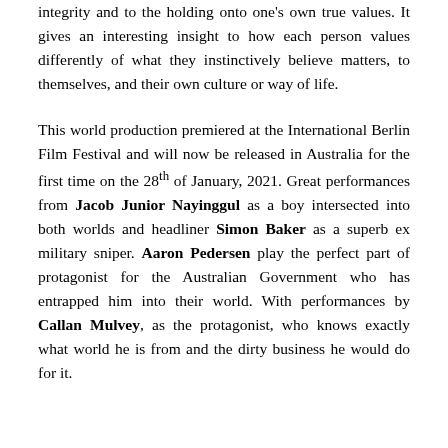integrity and to the holding onto one's own true values. It gives an interesting insight to how each person values differently of what they instinctively believe matters, to themselves, and their own culture or way of life.
This world production premiered at the International Berlin Film Festival and will now be released in Australia for the first time on the 28th of January, 2021. Great performances from Jacob Junior Nayinggul as a boy intersected into both worlds and headliner Simon Baker as a superb ex military sniper. Aaron Pedersen play the perfect part of protagonist for the Australian Government who has entrapped him into their world. With performances by Callan Mulvey, as the protagonist, who knows exactly what world he is from and the dirty business he would do for it.